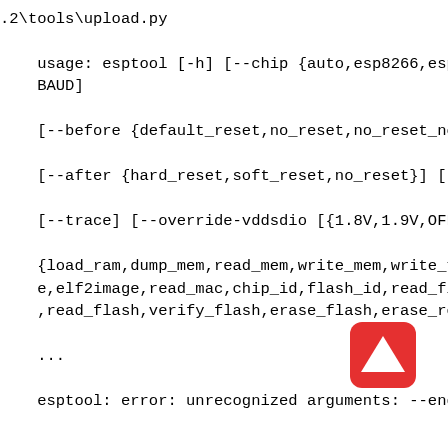.2\tools\upload.py

usage: esptool [-h] [--chip {auto,esp8266,esp
BAUD]

[--before {default_reset,no_reset,no_reset_no

[--after {hard_reset,soft_reset,no_reset}] [-

[--trace] [--override-vddsdio [{1.8V,1.9V,OFF

{load_ram,dump_mem,read_mem,write_mem,write_f
e,elf2image,read_mac,chip_id,flash_id,read_fl
,read_flash,verify_flash,erase_flash,erase_re

...

esptool: error: unrecognized arguments: --end
[Figure (illustration): Red rounded square icon with a white upward-pointing triangle (play/upload button) in the center]